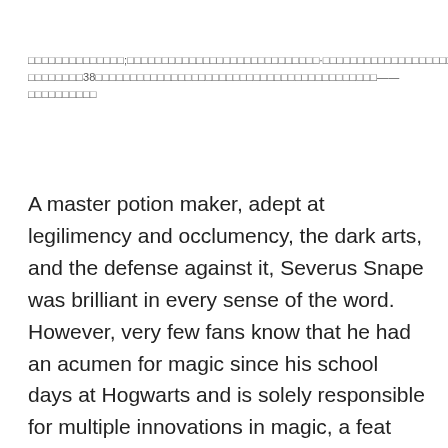□□□□□□□□□□□□□□;□□□□□□□□□□□□□□□□□□□□□□□□□□□□·□□□□□□□□□□□□□□□□□□□□□□□□□□□□□□□□38□□□□□□□□□□□□□□□□□□□□□□□□□□□□□□□□□□□□□□□□□□——□□□□□□□□□□
A master potion maker, adept at legilimency and occlumency, the dark arts, and the defense against it, Severus Snape was brilliant in every sense of the word. However, very few fans know that he had an acumen for magic since his school days at Hogwarts and is solely responsible for multiple innovations in magic, a feat unheard of from someone so young in age. The Half-Blood Prince not only mastered the intricate and logically demanding task of spell-creation at such an early age,